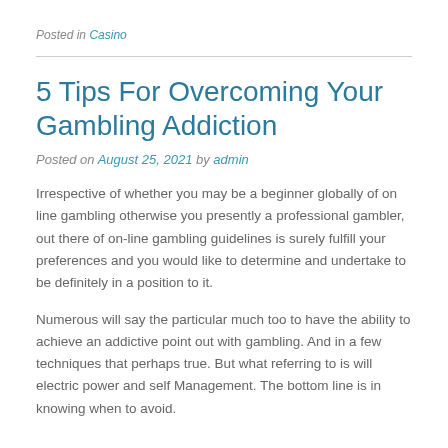Posted in Casino
5 Tips For Overcoming Your Gambling Addiction
Posted on August 25, 2021 by admin
Irrespective of whether you may be a beginner globally of on line gambling otherwise you presently a professional gambler, out there of on-line gambling guidelines is surely fulfill your preferences and you would like to determine and undertake to be definitely in a position to it.
Numerous will say the particular much too to have the ability to achieve an addictive point out with gambling. And in a few techniques that perhaps true. But what referring to is will electric power and self Management. The bottom line is in knowing when to avoid.